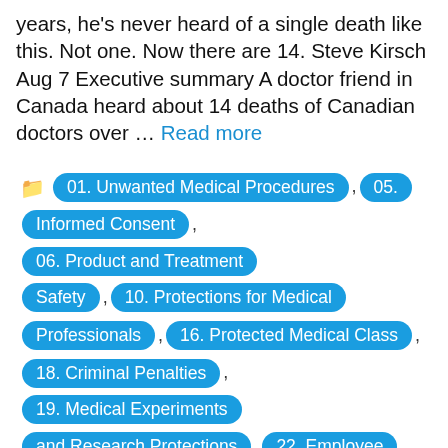years, he's never heard of a single death like this. Not one. Now there are 14. Steve Kirsch Aug 7 Executive summary A doctor friend in Canada heard about 14 deaths of Canadian doctors over … Read more
01. Unwanted Medical Procedures
05. Informed Consent
06. Product and Treatment Safety
10. Protections for Medical Professionals
16. Protected Medical Class
18. Criminal Penalties
19. Medical Experiments and Research Protections
22. Employee Protection
23. Consumer Protections
24. Healthcare Provider Education
Articles
Deaths
Employer Mandated Vaccinations
Hunting of Doctors
Important
Improper Activities
Informed Consent
Mandates